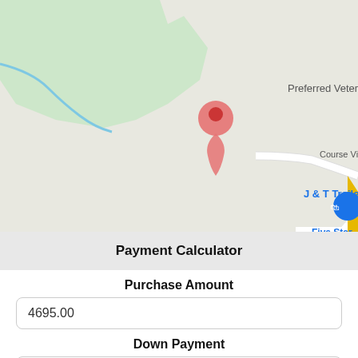[Figure (map): Google Maps screenshot showing a location pin on Course View Ln, with labels for Preferred Veter(inary), J & T Trailers, and Five Star Convenience Store. A green wooded area and blue river/stream are visible in the upper left. A yellow road runs along the right edge. A pink/red location pin marker is centered on the map.]
Payment Calculator
Purchase Amount
4695.00
Down Payment